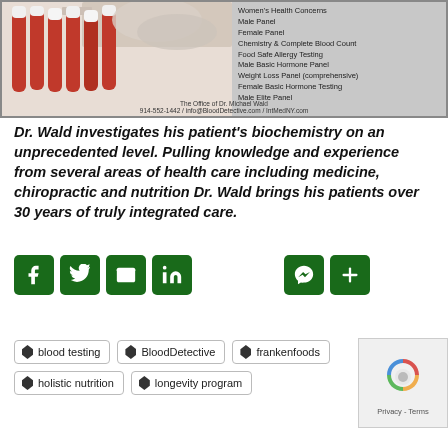[Figure (photo): Photo of blood test tubes held by a gloved hand, next to a list of medical services panel.]
The Office of Dr. Michael Wald
914-552-1442 / info@BloodDetective.com / IntMedNY.com
Dr. Wald investigates his patient's biochemistry on an unprecedented level. Pulling knowledge and experience from several areas of health care including medicine, chiropractic and nutrition Dr. Wald brings his patients over 30 years of truly integrated care.
[Figure (infographic): Social media sharing icons: Facebook, Twitter, Email, LinkedIn, Messenger, Share (plus)]
blood testing
BloodDetective
frankenfoods
holistic nutrition
longevity program